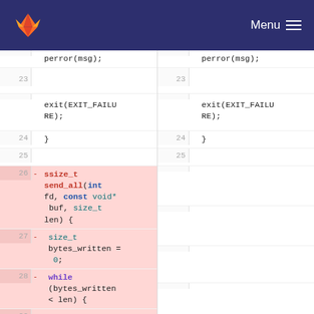GitLab Menu
[Figure (screenshot): A GitLab diff view showing two columns of code. Left column shows removed lines (highlighted pink) including ssize_t send_all(int fd, const void* buf, size_t len) function definition and while(bytes_written < len) loop with #ifdef USE_ASYNC_IO. Right column shows unchanged lines with perror(msg), exit(EXIT_FAILURE), and closing braces. Line numbers 23-30 visible.]